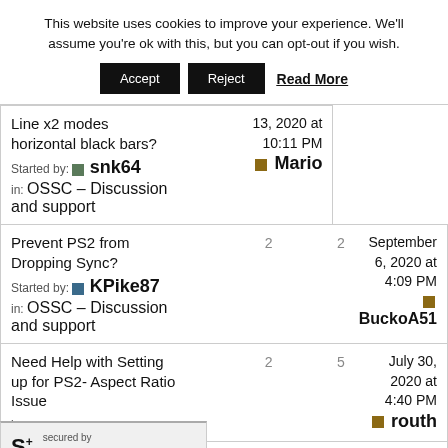This website uses cookies to improve your experience. We'll assume you're ok with this, but you can opt-out if you wish.
Accept | Reject | Read More
Line x2 modes horizontal black bars? Started by: snk64 in: OSSC – Discussion and support | 13, 2020 at 10:11 PM | Mario
Prevent PS2 from Dropping Sync? 2  2 | Started by: KPike87 in: OSSC – Discussion and support | September 6, 2020 at 4:09 PM | BuckoA51
Need Help with Setting up for PS2- Aspect Ratio Issue 2  5 | July 30, 2020 at 4:40 PM | routh | in: OSSC – Discussion and support
[Figure (logo): Sucuri security badge with S+ logo and 'secured by sucuri' text]